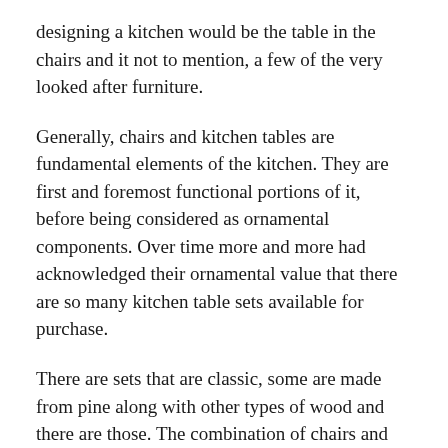designing a kitchen would be the table in the chairs and it not to mention, a few of the very looked after furniture.
Generally, chairs and kitchen tables are fundamental elements of the kitchen. They are first and foremost functional portions of it, before being considered as ornamental components. Over time more and more had acknowledged their ornamental value that there are so many kitchen table sets available for purchase.
There are sets that are classic, some are made from pine along with other types of wood and there are those. The combination of chairs and tables also widely differs. There may be a set composed of a glass made a table and wooden chairs. Another set could be folding table with steel chairs or around. A table seat can also replaces chairs on a set. All these merely show that there are plenty of sets for you yourself to choose from.